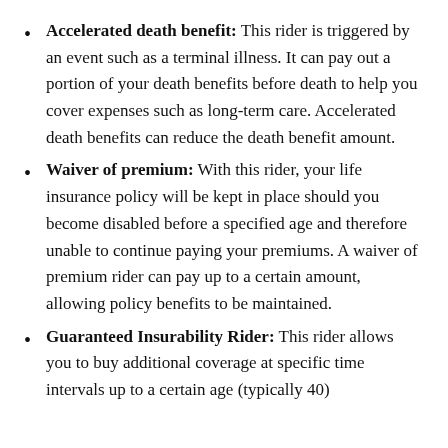Accelerated death benefit: This rider is triggered by an event such as a terminal illness. It can pay out a portion of your death benefits before death to help you cover expenses such as long-term care. Accelerated death benefits can reduce the death benefit amount.
Waiver of premium: With this rider, your life insurance policy will be kept in place should you become disabled before a specified age and therefore unable to continue paying your premiums. A waiver of premium rider can pay up to a certain amount, allowing policy benefits to be maintained.
Guaranteed Insurability Rider: This rider allows you to buy additional coverage at specific time intervals up to a certain age (typically 40)